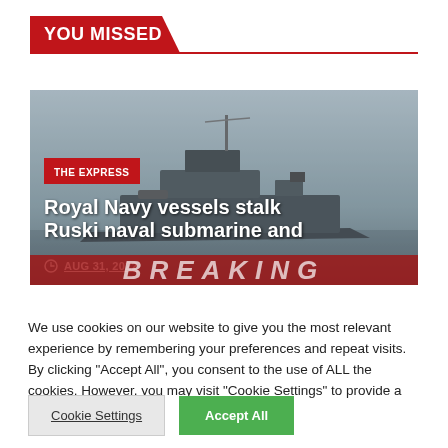YOU MISSED
[Figure (photo): Royal Navy warship in grey foggy conditions with BREAKING text watermark at bottom. Article card with red THE EXPRESS badge and white headline text overlaid on image.]
THE EXPRESS
Royal Navy vessels stalk Ruski naval submarine and
AUG 31, 2022
We use cookies on our website to give you the most relevant experience by remembering your preferences and repeat visits. By clicking "Accept All", you consent to the use of ALL the cookies. However, you may visit "Cookie Settings" to provide a controlled consent.
Cookie Settings
Accept All